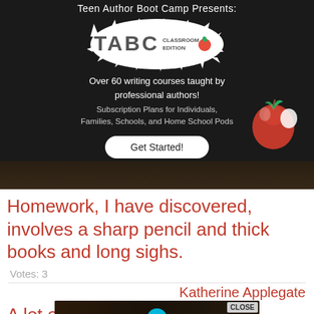[Figure (screenshot): Teen Author Boot Camp Presents: TABC Classroom Edition advertisement banner on dark background. Shows logo with splash design, text 'Over 60 writing courses taught by professional authors! Subscription Plans for Individuals, Families, Schools, and Home School Pods', a Get Started button, and a red apple illustration.]
Homework, I have discovered, involves a sharp pencil and thick books and long sighs.
Votes: 3
Katherine Applegate
[Figure (screenshot): Overlay advertisement: '22 - 37 ITEMS PEOPLE LOVE TO PURCHASE ON AMAZON' with food and kitchen items in the background. Has a CLOSE button and X button.]
A lot of homework, but very...
Scott